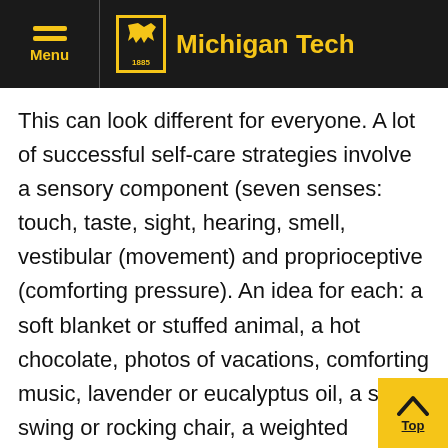Michigan Tech
This can look different for everyone.  A lot of successful self-care strategies involve a sensory component (seven senses: touch, taste, sight, hearing, smell, vestibular (movement) and proprioceptive (comforting pressure).  An idea for each: a soft blanket or stuffed animal, a hot chocolate, photos of vacations, comforting music, lavender or eucalyptus oil, a small swing or rocking chair, a weighted blanket.  A journal, an inspirational book, or a mandala coloring book is wonderful, bubbles to blow or blowing watercolor on paper through a straw are visually appealing as well as work on controlled breath.  Mint gum, Listerine strips, ginger ale, frozen Strawberries are also handy along the way for ...